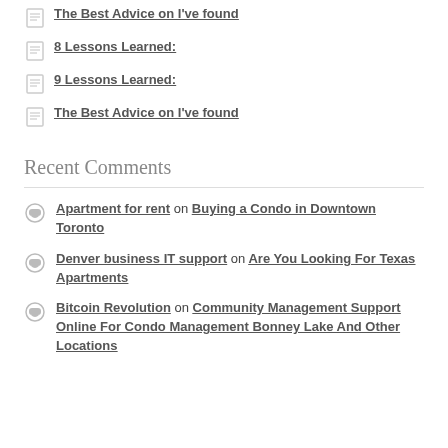The Best Advice on I've found
8 Lessons Learned:
9 Lessons Learned:
The Best Advice on I've found
Recent Comments
Apartment for rent on Buying a Condo in Downtown Toronto
Denver business IT support on Are You Looking For Texas Apartments
Bitcoin Revolution on Community Management Support Online For Condo Management Bonney Lake And Other Locations